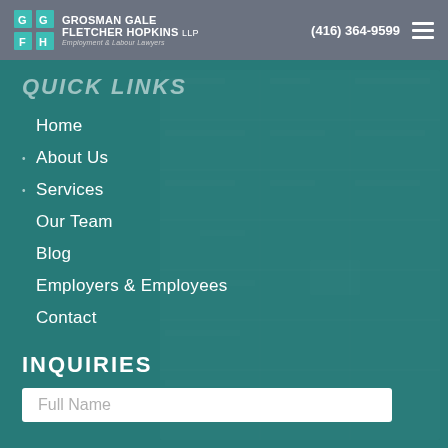Grosman Gale Fletcher Hopkins LLP | Employment & Labour Lawyers | (416) 364-9599
QUICK LINKS
Home
About Us
Services
Our Team
Blog
Employers & Employees
Contact
INQUIRIES
Full Name